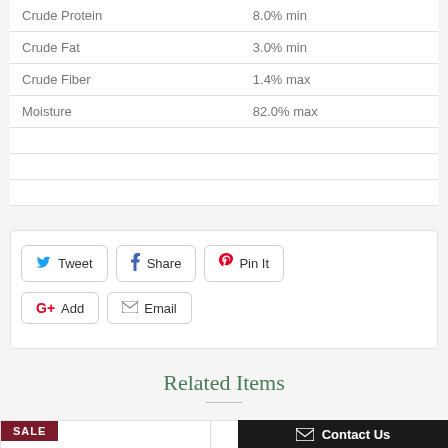|  |  |
| --- | --- |
| Crude Protein | 8.0% min |
| Crude Fat | 3.0% min |
| Crude Fiber | 1.4% max |
| Moisture | 82.0% max |
|  |  |
|  |  |
|  |  |
Tweet
Share
Pin It
Add
Email
Related Items
[Figure (other): SALE badge on product card thumbnail]
Contact Us